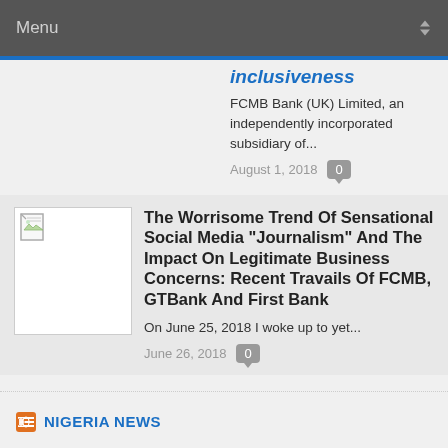Menu
inclusiveness
FCMB Bank (UK) Limited, an independently incorporated subsidiary of...
August 1, 2018   0
[Figure (photo): Thumbnail image placeholder with broken image icon]
The Worrisome Trend Of Sensational Social Media "Journalism" And The Impact On Legitimate Business Concerns: Recent Travails Of FCMB, GTBank And First Bank
On June 25, 2018 I woke up to yet...
June 26, 2018   0
NIGERIA NEWS